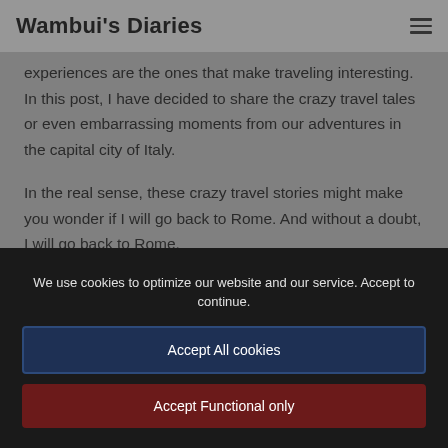Wambui's Diaries
experiences are the ones that make traveling interesting. In this post, I have decided to share the crazy travel tales or even embarrassing moments from our adventures in the capital city of Italy.
In the real sense, these crazy travel stories might make you wonder if I will go back to Rome. And without a doubt, I will go back to Rome.
We use cookies to optimize our website and our service. Accept to continue.
Accept All cookies
Accept Functional only